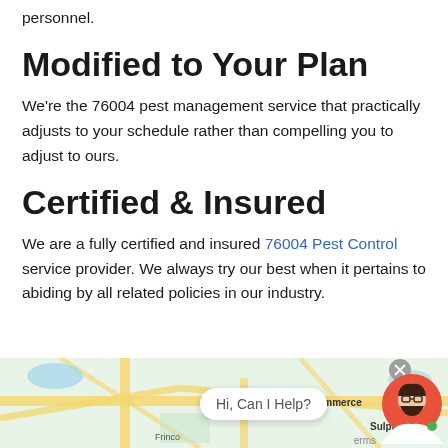personnel.
Modified to Your Plan
We're the 76004 pest management service that practically adjusts to your schedule rather than compelling you to adjust to ours.
Certified & Insured
We are a fully certified and insured 76004 Pest Control service provider. We always try our best when it pertains to abiding by all related policies in our industry.
[Figure (map): Google Maps partial view showing Commerce and Sulphu areas with street/road overlay and a chat widget overlay reading 'Hi, Can I Help?' with an avatar and close button]